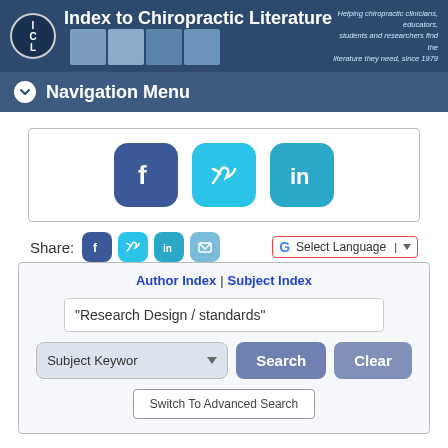Index to Chiropractic Literature — Helping chiropractic clinicians, educators, students and researchers find the literature they need, since 1979
Navigation Menu
[Figure (screenshot): Social media share buttons (Facebook, Twitter, LinkedIn) in a bordered box]
Share: [Facebook] [Twitter] [LinkedIn] [Email] — G Select Language
Author Index | Subject Index
"Research Design / standards"
Subject Keyword dropdown, Search button, Clear button
Switch To Advanced Search